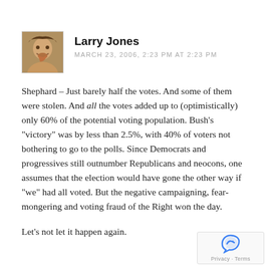[Figure (photo): Small avatar photo of a person with an expressive open-mouthed face, square thumbnail image]
Larry Jones
MARCH 23, 2006, 2:23 PM AT 2:23 PM
Shephard – Just barely half the votes. And some of them were stolen. And all the votes added up to (optimistically) only 60% of the potential voting population. Bush's "victory" was by less than 2.5%, with 40% of voters not bothering to go to the polls. Since Democrats and progressives still outnumber Republicans and neocons, one assumes that the election would have gone the other way if "we" had all voted. But the negative campaigning, fear-mongering and voting fraud of the Right won the day.
Let's not let it happen again.